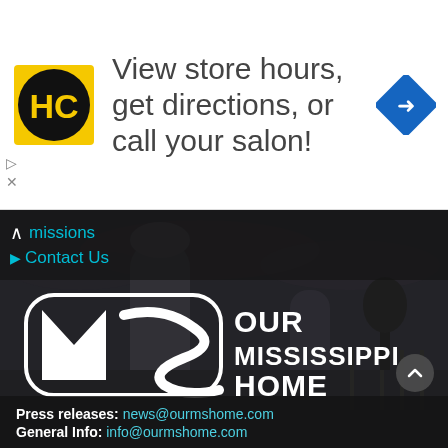[Figure (infographic): Advertisement banner: HC logo (black circle with HC letters in yellow square), text 'View store hours, get directions, or call your salon!', blue diamond navigation icon on right, with ad controls (play/close) on left side]
▲ missions
▶ Contact Us
[Figure (logo): Our Mississippi Home logo - white MS monogram in rounded rectangle with stylized M and S letterforms, with 'OUR MISSISSIPPI HOME' text to the right, overlaid on dark photograph of Mississippi architecture]
Press releases: news@ourmshome.com
General Info: info@ourmshome.com